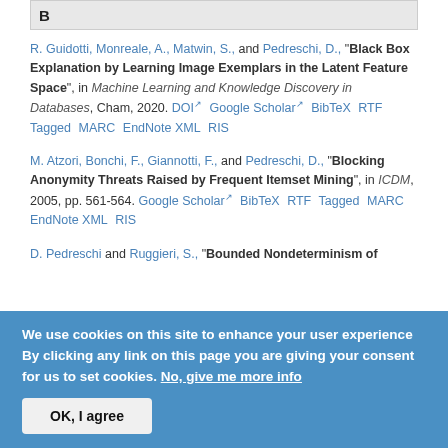R. Guidotti, Monreale, A., Matwin, S., and Pedreschi, D., "Black Box Explanation by Learning Image Exemplars in the Latent Feature Space", in Machine Learning and Knowledge Discovery in Databases, Cham, 2020. DOI Google Scholar BibTeX RTF Tagged MARC EndNote XML RIS
M. Atzori, Bonchi, F., Giannotti, F., and Pedreschi, D., "Blocking Anonymity Threats Raised by Frequent Itemset Mining", in ICDM, 2005, pp. 561-564. Google Scholar BibTeX RTF Tagged MARC EndNote XML RIS
D. Pedreschi and Ruggieri, S., "Bounded Nondeterminism of...
We use cookies on this site to enhance your user experience By clicking any link on this page you are giving your consent for us to set cookies. No, give me more info